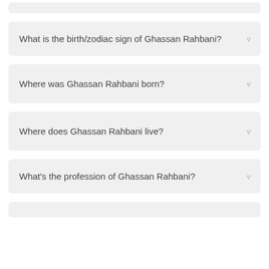What is the birth/zodiac sign of Ghassan Rahbani?
Where was Ghassan Rahbani born?
Where does Ghassan Rahbani live?
What's the profession of Ghassan Rahbani?